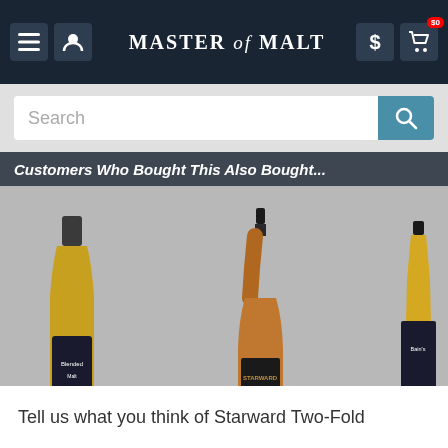Master of Malt
Search
Customers Who Bought This Also Bought...
[Figure (photo): Whisky bottle - partially visible left, dark label (Oxford Malt)]
h Oxford Malt
(.45%)
★★★☆☆ (17)
0.53
[Figure (photo): Whisky bottle - Starward Nova, amber bottle center]
Starward Nova
(70cl, 41%)
★★★★☆ (13)
$40.29
[Figure (photo): Whisky bottle - Bain's, partially visible right]
Bain's
(70cl,
★★★
$21
Tell us what you think of Starward Two-Fold